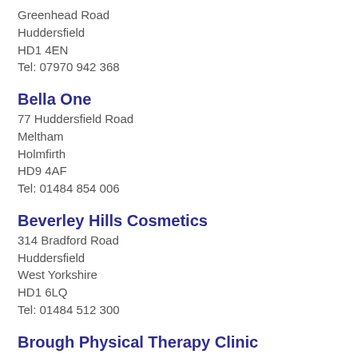Greenhead Road
Huddersfield
HD1 4EN
Tel: 07970 942 368
Bella One
77 Huddersfield Road
Meltham
Holmfirth
HD9 4AF
Tel: 01484 854 006
Beverley Hills Cosmetics
314 Bradford Road
Huddersfield
West Yorkshire
HD1 6LQ
Tel: 01484 512 300
Brough Physical Therapy Clinic